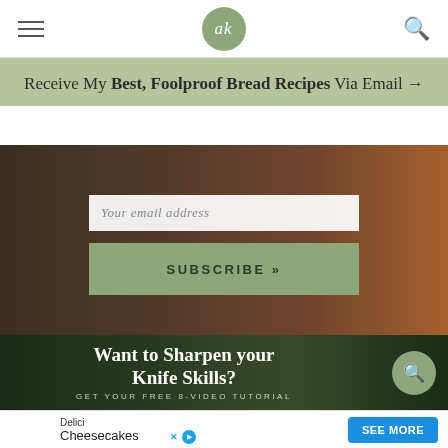ak (logo) - navigation header with hamburger menu and search icon
Receive My Best, Foolproof Bread Recipes Via Email →
[Figure (screenshot): Email subscription form with text input field showing 'Your email address' placeholder and a green SUBSCRIBE » button, overlaid on a dark food/cooking background image]
[Figure (screenshot): Dark background image of chopped vegetables with white text 'Want to Sharpen your Knife Skills?' and subtitle 'GET YOUR FREE 8-VIDEO TUTORIAL', with a green search circle icon on the right]
Delici Cheesecakes SEE MORE